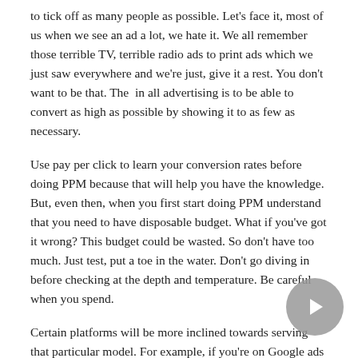to tick off as many people as possible. Let's face it, most of us when we see an ad a lot, we hate it. We all remember those terrible TV, terrible radio ads to print ads which we just saw everywhere and we're just, give it a rest. You don't want to be that. The  in all advertising is to be able to convert as high as possible by showing it to as few as necessary.
Use pay per click to learn your conversion rates before doing PPM because that will help you have the knowledge. But, even then, when you first start doing PPM understand that you need to have disposable budget. What if you've got it wrong? This budget could be wasted. So don't have too much. Just test, put a toe in the water. Don't go diving in before checking at the depth and temperature. Be careful when you spend.
Certain platforms will be more inclined towards serving that particular model. For example, if you're on Google ads you can count on a PPC type model, but if you go to a Facebook you might be taught more PPM. And so you need to be aware. You don't want to be doing a lot of PPM, make sure you're careful which